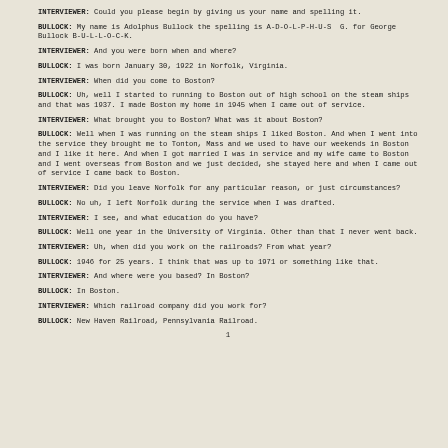INTERVIEWER: Could you please begin by giving us your name and spelling it.
BULLOCK: My name is Adolphus Bullock the spelling is A-D-O-L-P-H-U-S  G. for George Bullock B-U-L-L-O-C-K.
INTERVIEWER: And you were born when and where?
BULLOCK: I was born January 30, 1922 in Norfolk, Virginia.
INTERVIEWER: When did you come to Boston?
BULLOCK: Uh, well I started to running to Boston out of high school on the steam ships and that was 1937. I made Boston my home in 1945 when I came out of service.
INTERVIEWER: What brought you to Boston? What was it about Boston?
BULLOCK: Well when I was running on the steam ships I liked Boston. And when I went into the service they brought me to Tonton, Mass and we used to have our weekends in Boston and I like it here. And when I got married I was in service and my wife came to Boston and I went overseas from Boston and we just decided, she stayed here and when I came out of service I came back to Boston.
INTERVIEWER: Did you leave Norfolk for any particular reason, or just circumstances?
BULLOCK: No uh, I left Norfolk during the service when I was drafted.
INTERVIEWER: I see, and what education do you have?
BULLOCK: Well one year in the University of Virginia. Other than that I never went back.
INTERVIEWER: Uh, when did you work on the railroads? From what year?
BULLOCK: 1946 for 25 years. I think that was up to 1971 or something like that.
INTERVIEWER: And where were you based? In Boston?
BULLOCK: In Boston.
INTERVIEWER: Which railroad company did you work for?
BULLOCK: New Haven Railroad, Pennsylvania Railroad.
1